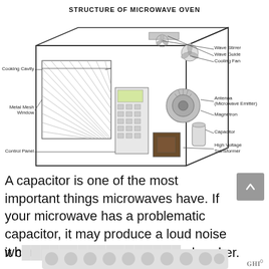STRUCTURE OF MICROWAVE OVEN
[Figure (engineering-diagram): Cutaway/exploded diagram of a microwave oven showing internal components labeled: Cooking Cavity, Wave Stirrer, Wave Guide, Cooling Fan, Metal Mesh Window, Antenna (Microwave Emitter), Magnetron, Capacitor, Control Panel, High Voltage Transformer]
A capacitor is one of the most important things microwaves have. If your microwave has a problematic capacitor, it may produce a loud noise when being used. It could also cause it from tripping your breaker.